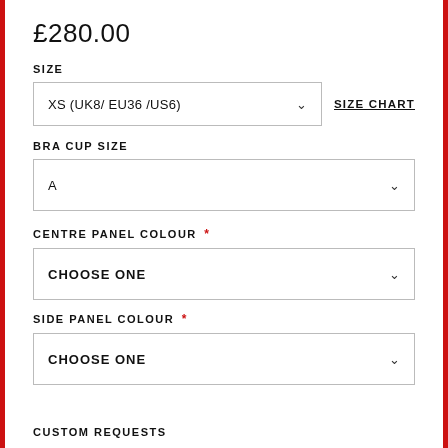£280.00
SIZE
XS (UK8/ EU36 /US6)
SIZE CHART
BRA CUP SIZE
A
CENTRE PANEL COLOUR *
CHOOSE ONE
SIDE PANEL COLOUR *
CHOOSE ONE
CUSTOM REQUESTS